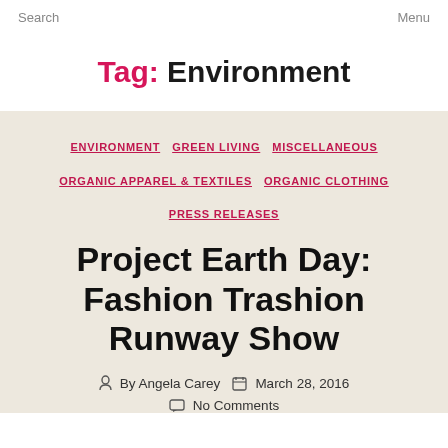Search    Menu
Tag: Environment
ENVIRONMENT  GREEN LIVING  MISCELLANEOUS  ORGANIC APPAREL & TEXTILES  ORGANIC CLOTHING  PRESS RELEASES
Project Earth Day: Fashion Trashion Runway Show
By Angela Carey  March 28, 2016
No Comments